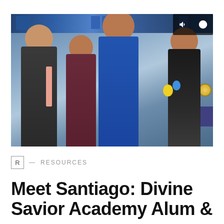[Figure (photo): A family of four posing at a graduation ceremony inside a gymnasium decorated in blue and white. The graduate is wearing a blue graduation gown and gold medal/medallion, holding a diploma. The family stands in front of decorations including balloons and banners. Video player controls (volume and pause icons) are visible in the top-right overlay.]
R — RESOURCES
Meet Santiago: Divine Savior Academy Alum &